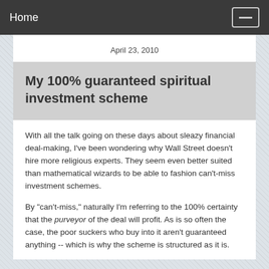Home
April 23, 2010
My 100% guaranteed spiritual investment scheme
With all the talk going on these days about sleazy financial deal-making, I've been wondering why Wall Street doesn't hire more religious experts. They seem even better suited than mathematical wizards to be able to fashion can't-miss investment schemes.
By "can't-miss," naturally I'm referring to the 100% certainty that the purveyor of the deal will profit. As is so often the case, the poor suckers who buy into it aren't guaranteed anything -- which is why the scheme is structured as it is.